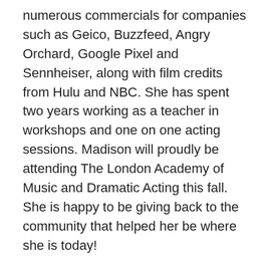numerous commercials for companies such as Geico, Buzzfeed, Angry Orchard, Google Pixel and Sennheiser, along with film credits from Hulu and NBC. She has spent two years working as a teacher in workshops and one on one acting sessions. Madison will proudly be attending The London Academy of Music and Dramatic Acting this fall. She is happy to be giving back to the community that helped her be where she is today!
Grady Dennis is a native of Sumter, South Carolina. Grady began studying theater and performing at the age of six with the Sumter Little Theater (under the direction of the late Katie Damron). He has been a part of many different facets of the theater from acting, directing, writing, producing, acting/voice coaching, choreography, and costume design. Moving to NYC to further his education and pursue a career in film/TV he wrote and starred in over 100 online sketch comedy shorts, which have been featured in The Huffington Post, Time Out New York, and several other major media outlets. His training includes the BFA program